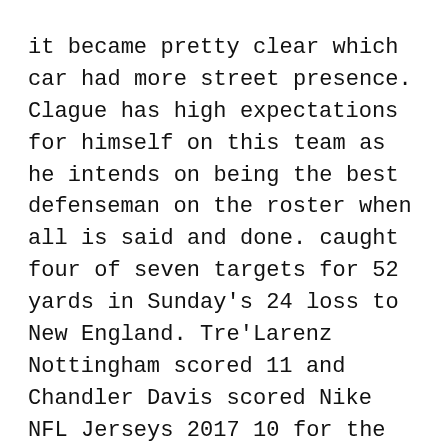it became pretty clear which car had more street presence. Clague has high expectations for himself on this team as he intends on being the best defenseman on the roster when all is said and done. caught four of seven targets for 52 yards in Sunday's 24 loss to New England. Tre'Larenz Nottingham scored 11 and Chandler Davis scored Nike NFL Jerseys 2017 10 for the Bobcats. It brought them a lot of joy. I didn't have time to get nervous or scared or really process what was going on. Our pace was really good tonight. Berger does report that Bryan Colangelo has been eager Nike NFL Jerseys 2017 to make a trade. Lame Lakers: `What us worry?' Dec 29 6 PM Cheap Jerseys NFL More than any other team in the Cheap NFL Jerseys USA NBA, the Los Cheap Jerseys